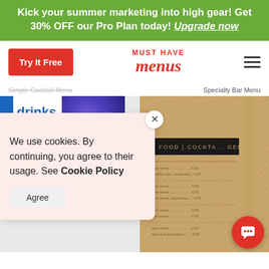Kick your summer marketing into high gear! Get 30% OFF our Pro Plan today! Upgrade now
Try It Free
[Figure (logo): Must Have Menus logo with red text]
Simple Cocktail Menu
Specialty Bar Menu
[Figure (photo): drinks cocktails menu card with blue sidebar]
[Figure (photo): Blue abstract cocktail photo card]
[Figure (photo): Oak + Ivy Bar Food Cocktails menu card on kraft paper background]
We use cookies. By continuing, you agree to their usage. See Cookie Policy
Agree